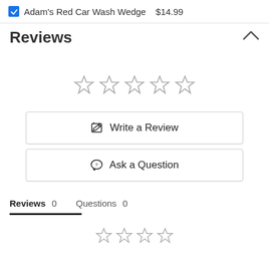Adam's Red Car Wash Wedge  $14.99
Reviews
[Figure (other): Five empty star rating icons in a row]
Write a Review
Ask a Question
Reviews 0    Questions 0